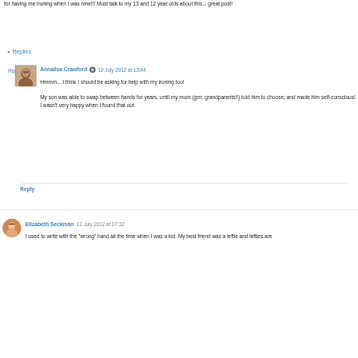for having me ironing when I was nine!!! Must talk to my 13 and 12 year olds about this... great post!
Reply
Replies
Annalisa Crawford  12 July 2012 at 13:44
Hmmm... I think I should be asking for help with my ironing too!

My son was able to swap between hands for years, until my mum (grrr, grandparents!!) told him to choose, and made him self-conscious! I wasn't very happy when I found that out.
Reply
Elizabeth Seckman  12 July 2012 at 07:32
I used to write with the "wrong" hand all the time when I was a kid. My best friend was a leftie and lefties are